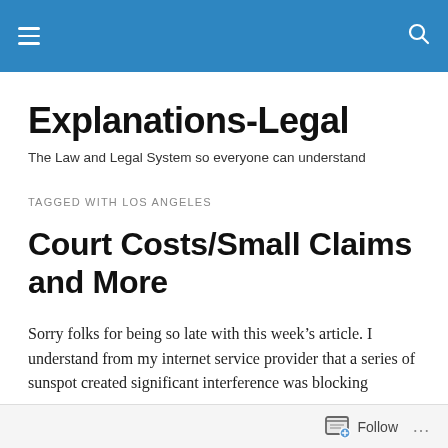Explanations-Legal
Explanations-Legal
The Law and Legal System so everyone can understand
TAGGED WITH LOS ANGELES
Court Costs/Small Claims and More
Sorry folks for being so late with this week’s article. I understand from my internet service provider that a series of sunspot created significant interference was blocking
Follow